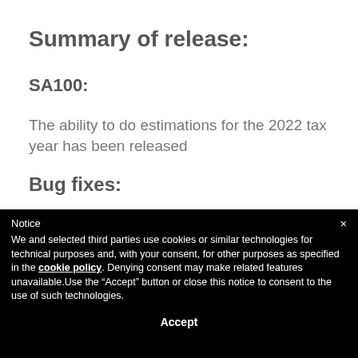Summary of release:
SA100:
The ability to do estimations for the 2022 tax year has been released
Bug fixes:
Notice
×
We and selected third parties use cookies or similar technologies for technical purposes and, with your consent, for other purposes as specified in the cookie policy. Denying consent may make related features unavailable.Use the “Accept” button or close this notice to consent to the use of such technologies.
Accept